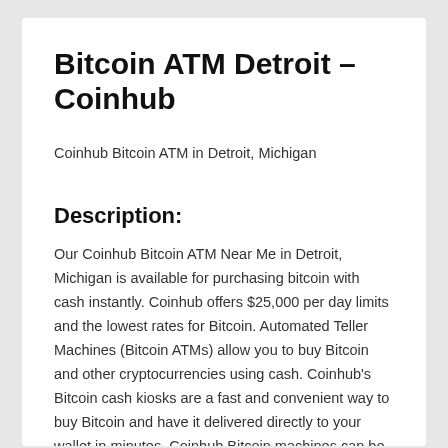Bitcoin ATM Detroit – Coinhub
Coinhub Bitcoin ATM in Detroit, Michigan
Description:
Our Coinhub Bitcoin ATM Near Me in Detroit, Michigan is available for purchasing bitcoin with cash instantly. Coinhub offers $25,000 per day limits and the lowest rates for Bitcoin. Automated Teller Machines (Bitcoin ATMs) allow you to buy Bitcoin and other cryptocurrencies using cash. Coinhub's Bitcoin cash kiosks are a fast and convenient way to buy Bitcoin and have it delivered directly to your wallet in minutes. Coinhub Bitcoin machines can be used quickly and